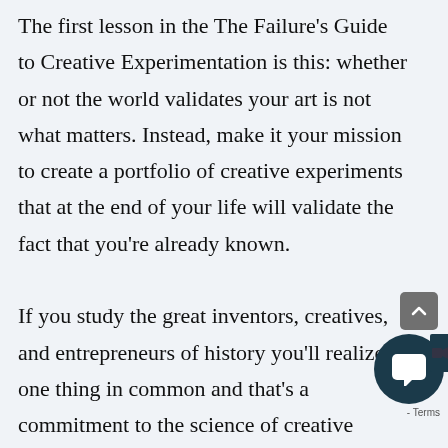The first lesson in the The Failure's Guide to Creative Experimentation is this: whether or not the world validates your art is not what matters. Instead, make it your mission to create a portfolio of creative experiments that at the end of your life will validate the fact that you're already known.

If you study the great inventors, creatives, and entrepreneurs of history you'll realize one thing in common and that's a commitment to the science of creative experimentation. While you might think that